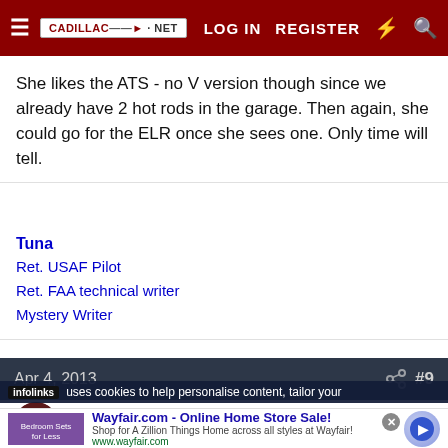CADILLAC-NET | LOG IN | REGISTER
She likes the ATS - no V version though since we already have 2 hot rods in the garage. Then again, she could go for the ELR once she sees one. Only time will tell.
Tuna
Ret. USAF Pilot
Ret. FAA technical writer
Mystery Writer
Apr 4, 2013  #9
cubby558
infolinks  uses cookies to help personalise content, tailor your
Wayfair.com - Online Home Store Sale!
Shop for A Zillion Things Home across all styles at Wayfair!
www.wayfair.com